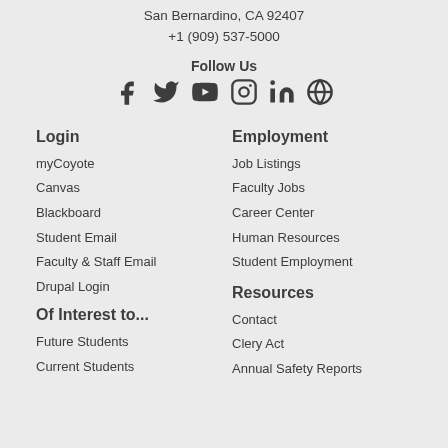San Bernardino, CA 92407
+1 (909) 537-5000
Follow Us
[Figure (infographic): Social media icons: Facebook, Twitter, YouTube, Instagram, LinkedIn, Globe/Web]
Login
myCoyote
Canvas
Blackboard
Student Email
Faculty & Staff Email
Drupal Login
Of Interest to...
Future Students
Current Students
Employment
Job Listings
Faculty Jobs
Career Center
Human Resources
Student Employment
Resources
Contact
Clery Act
Annual Safety Reports